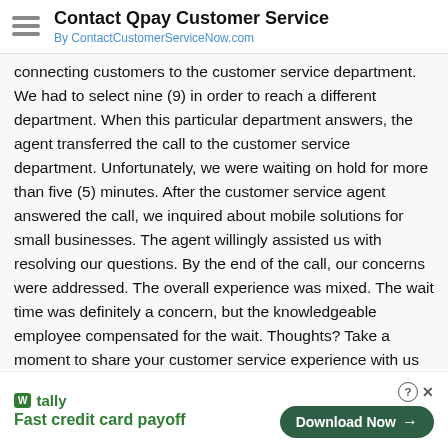Contact Qpay Customer Service
By ContactCustomerServiceNow.com
connecting customers to the customer service department. We had to select nine (9) in order to reach a different department. When this particular department answers, the agent transferred the call to the customer service department. Unfortunately, we were waiting on hold for more than five (5) minutes. After the customer service agent answered the call, we inquired about mobile solutions for small businesses. The agent willingly assisted us with resolving our questions. By the end of the call, our concerns were addressed. The overall experience was mixed. The wait time was definitely a concern, but the knowledgeable employee compensated for the wait. Thoughts? Take a moment to share your customer service experience with us in the comment section below.
⭐⭐⭐☆☆ (2 votes, average: 2.50 out of 5)
[Figure (infographic): Tally app advertisement banner: 'Fast credit card payoff' with a green Download Now button and close/help controls]